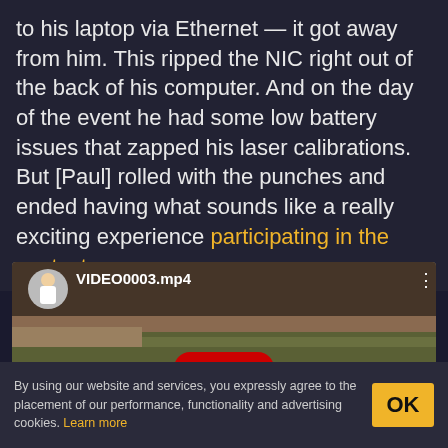to his laptop via Ethernet — it got away from him. This ripped the NIC right out of the back of his computer. And on the day of the event he had some low battery issues that zapped his laser calibrations. But [Paul] rolled with the punches and ended having what sounds like a really exciting experience participating in the contest.
[Figure (screenshot): Embedded YouTube video thumbnail showing VIDEO0003.mp4 with a person in white coveralls, an RC car on pavement, and a yellow play button overlay]
By using our website and services, you expressly agree to the placement of our performance, functionality and advertising cookies. Learn more